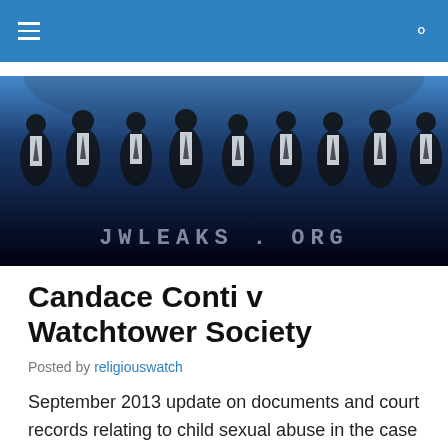JWLEAKS.ORG navigation bar
[Figure (photo): Dark banner image with anonymous silhouetted figures in suits and ties standing in a row against a blue smoky background. Text 'JWLEAKS . ORG' displayed in metallic grey lettering at the bottom of the image.]
Candace Conti v Watchtower Society
Posted by religiouswatch
September 2013 update on documents and court records relating to child sexual abuse in the case of “Candace Conti v. Watchtower Bible and Tract Society of New York & North Fremont Congregation of Jehovah’s Witnesses”